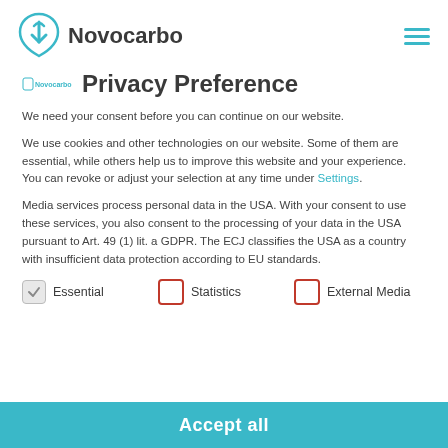Novocarbo
Privacy Preference
We need your consent before you can continue on our website.
We use cookies and other technologies on our website. Some of them are essential, while others help us to improve this website and your experience. You can revoke or adjust your selection at any time under Settings.
Media services process personal data in the USA. With your consent to use these services, you also consent to the processing of your data in the USA pursuant to Art. 49 (1) lit. a GDPR. The ECJ classifies the USA as a country with insufficient data protection according to EU standards.
Essential
Statistics
External Media
Accept all